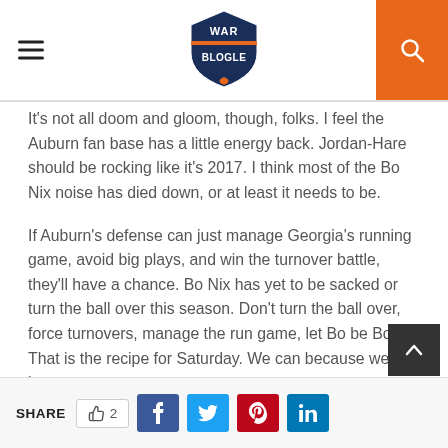War Blogle
It’s not all doom and gloom, though, folks. I feel the Auburn fan base has a little energy back. Jordan-Hare should be rocking like it’s 2017. I think most of the Bo Nix noise has died down, or at least it needs to be.
If Auburn’s defense can just manage Georgia’s running game, avoid big plays, and win the turnover battle, they’ll have a chance. Bo Nix has yet to be sacked or turn the ball over this season. Don’t turn the ball over, force turnovers, manage the run game, let Bo be Bo. That is the recipe for Saturday. We can because we have.
Oh yeah, never talk down #10 again.
SHARE  2  Facebook  Twitter  Pinterest  LinkedIn